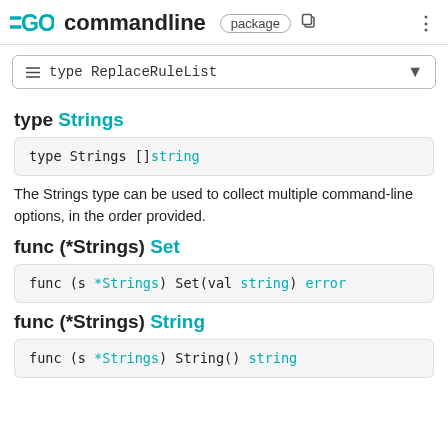GO commandline package
≡ type ReplaceRuleList
type Strings
type Strings []string
The Strings type can be used to collect multiple command-line options, in the order provided.
func (*Strings) Set
func (s *Strings) Set(val string) error
func (*Strings) String
func (s *Strings) String() string